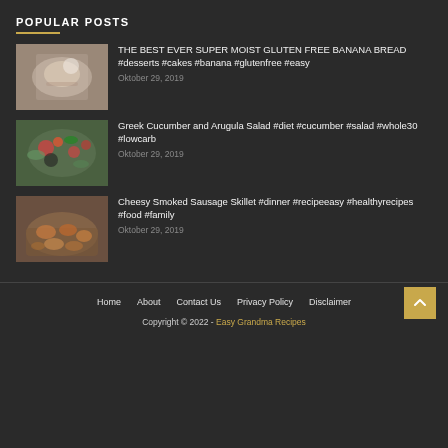POPULAR POSTS
THE BEST EVER SUPER MOIST GLUTEN FREE BANANA BREAD #desserts #cakes #banana #glutenfree #easy
Oktober 29, 2019
Greek Cucumber and Arugula Salad #diet #cucumber #salad #whole30 #lowcarb
Oktober 29, 2019
Cheesy Smoked Sausage Skillet #dinner #recipeeasy #healthyrecipes #food #family
Oktober 29, 2019
Home | About | Contact Us | Privacy Policy | Disclaimer
Copyright © 2022 - Easy Grandma Recipes